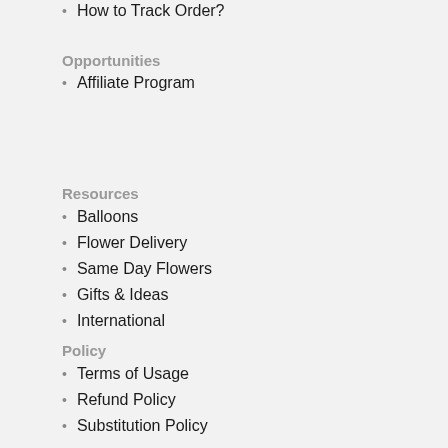How to Track Order?
Opportunities
Affiliate Program
Resources
Balloons
Flower Delivery
Same Day Flowers
Gifts & Ideas
International
Policy
Terms of Usage
Refund Policy
Substitution Policy
Privacy & Security
Policies
Services